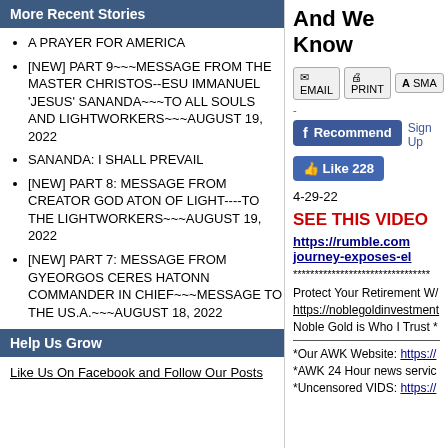More Recent Stories
A PRAYER FOR AMERICA
[NEW] PART 9~~~MESSAGE FROM THE MASTER CHRISTOS--ESU IMMANUEL 'JESUS' SANANDA~~~TO ALL SOULS AND LIGHTWORKERS~~~AUGUST 19, 2022
SANANDA: I SHALL PREVAIL
[NEW] PART 8: MESSAGE FROM CREATOR GOD ATON OF LIGHT----TO THE LIGHTWORKERS~~~AUGUST 19, 2022
[NEW] PART 7: MESSAGE FROM GYEORGOS CERES HATONN COMMANDER IN CHIEF~~~MESSAGE TO THE US.A.~~~AUGUST 18, 2022
Help Us Grow
Like Us On Facebook and Follow Our Posts
And We Know
EMAIL  PRINT  SMA
-
Recommend  Sign Up
Like 228
4-29-22
SEE THIS VIDEO
https://rumble.com journey-exposes-el
********************************
Protect Your Retirement W/
https://noblegoldinvestment
Noble Gold is Who I Trust *
*Our AWK Website: https://
*AWK 24 Hour news servic
*Uncensored VIDS: https://